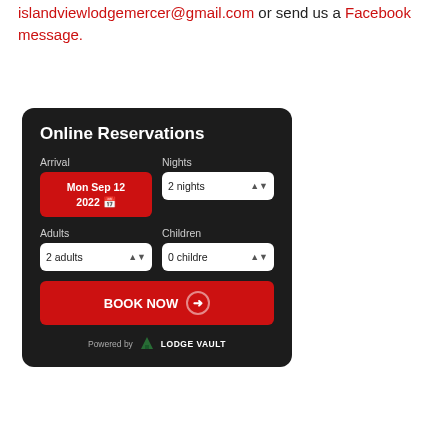islandviewlodgemercer@gmail.com or send us a Facebook message.
[Figure (screenshot): Online Reservations booking widget with dark background. Fields: Arrival date (Mon Sep 12 2022), Nights (2 nights), Adults (2 adults), Children (0 children). BOOK NOW button in red with arrow. Powered by Lodge Vault logo at bottom.]